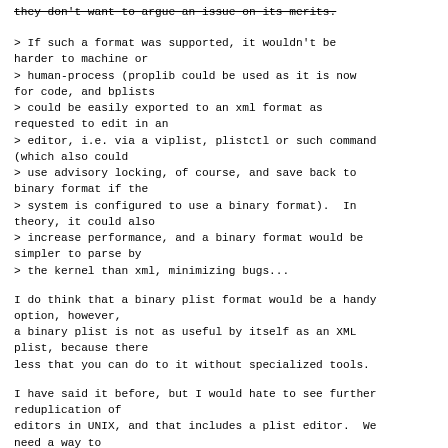they don't want to argue an issue on its merits.
> If such a format was supported, it wouldn't be harder to machine or
> human-process (proplib could be used as it is now for code, and bplists
> could be easily exported to an xml format as requested to edit in an
> editor, i.e. via a viplist, plistctl or such command (which also could
> use advisory locking, of course, and save back to binary format if the
> system is configured to use a binary format).  In theory, it could also
> increase performance, and a binary format would be simpler to parse by
> the kernel than xml, minimizing bugs...
I do think that a binary plist format would be a handy option, however,
a binary plist is not as useful by itself as an XML plist, because there
less that you can do to it without specialized tools.
I have said it before, but I would hate to see further reduplication of
editors in UNIX, and that includes a plist editor.  We need a way to
compose filters with editors!